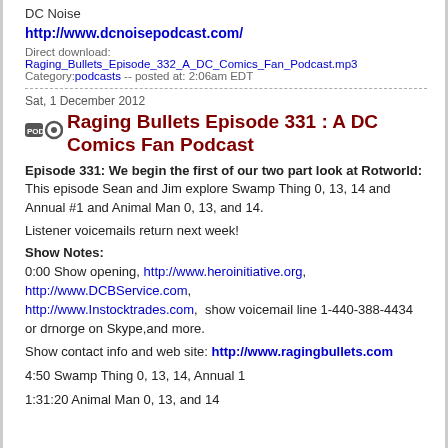DC Noise
http://www.dcnoisepodcast.com/
Direct download: Raging_Bullets_Episode_332_A_DC_Comics_Fan_Podcast.mp3
Category: podcasts -- posted at: 2:06am EDT
Raging Bullets Episode 331 : A DC Comics Fan Podcast
Sat, 1 December 2012
Episode 331: We begin the first of our two part look at Rotworld: This episode Sean and Jim explore Swamp Thing 0, 13, 14 and Annual #1 and Animal Man 0, 13, and 14.
Listener voicemails return next week!
Show Notes:
0:00 Show opening, http://www.heroinitiative.org, http://www.DCBService.com, http://www.Instocktrades.com, show voicemail line 1-440-388-4434 or drnorge on Skype,and more.
Show contact info and web site: http://www.ragingbullets.com
4:50 Swamp Thing 0, 13, 14, Annual 1
1:31:20 Animal Man 0, 13, and 14